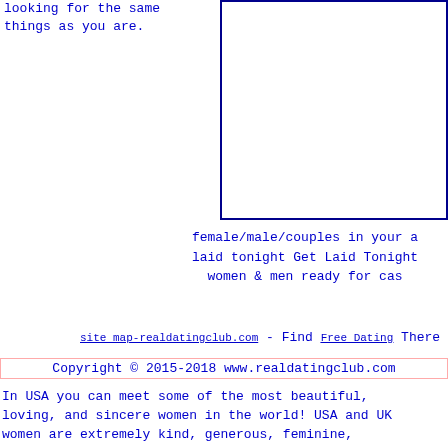looking for the same things as you are.
[Figure (other): Empty bordered box/image placeholder on right side]
female/male/couples in your laid tonight Get Laid Tonight women & men ready for cas
site map-realdatingclub.com - Find Free Dating There are
Copyright © 2015-2018 www.realdatingclub.com
In USA you can meet some of the most beautiful, loving, and sincere women in the world! USA and UK women are extremely kind, generous, feminine, family orientated and highly educated. Our web site presents their photographs and profiles just take a look at our complete women's photo album or the most recent ladies added to database.